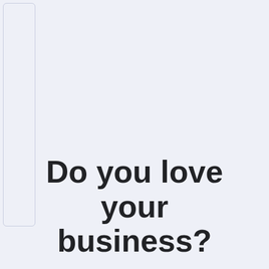[Figure (illustration): Partial outline/border of a card or panel element, visible on the left side of the page, showing two vertical lines forming a thin rectangular border against a light blue-gray background.]
Do you love your business?